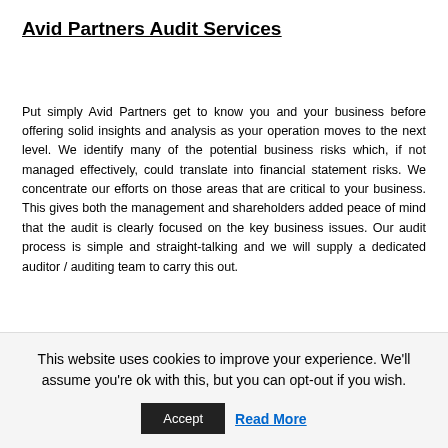Avid Partners Audit Services
Put simply Avid Partners get to know you and your business before offering solid insights and analysis as your operation moves to the next level. We identify many of the potential business risks which, if not managed effectively, could translate into financial statement risks. We concentrate our efforts on those areas that are critical to your business. This gives both the management and shareholders added peace of mind that the audit is clearly focused on the key business issues. Our audit process is simple and straight-talking and we will supply a dedicated auditor / auditing team to carry this out.
Our 5 Step Audit Approach
This website uses cookies to improve your experience. We'll assume you're ok with this, but you can opt-out if you wish.